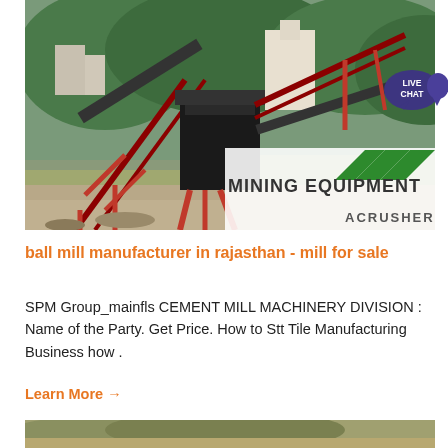[Figure (photo): Industrial mining/crushing equipment facility with conveyor belts and machinery against a forested hillside. Overlay in bottom-right shows 'MINING EQUIPMENT ACRUSHER' logo with green diagonal stripes.]
[Figure (infographic): Live Chat speech bubble badge in dark purple/blue with text 'LIVE CHAT']
ball mill manufacturer in rajasthan - mill for sale
SPM Group_mainfls CEMENT MILL MACHINERY DIVISION : Name of the Party. Get Price. How to Stt Tile Manufacturing Business how .
Learn More →
[Figure (photo): Partial view of another mining/outdoor landscape scene at bottom of page.]